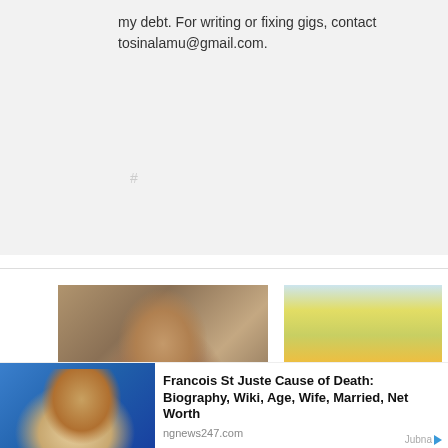my debt. For writing or fixing gigs, contact tosinalamu@gmail.com.
[Figure (photo): Portrait photo of a young man in a tan/brown jacket with hands behind head]
[Figure (photo): Street scene with motorcycles and crowds in a busy urban area]
[Figure (photo): Portrait of Francois St Juste, a man in glasses smiling, against blue background]
Francois St Juste Cause of Death: Biography, Wiki, Age, Wife, Married, Net Worth
ngnews247.com